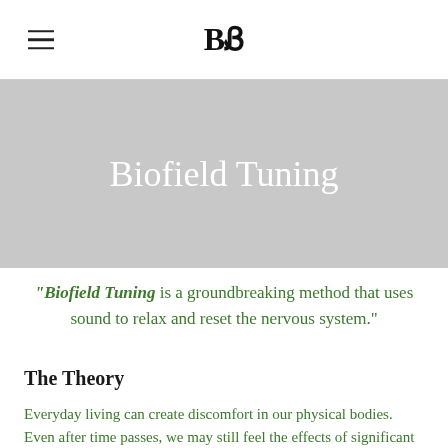BB
Biofield Tuning
"Biofield Tuning is a groundbreaking method that uses sound to relax and reset the nervous system."
The Theory
Everyday living can create discomfort in our physical bodies. Even after time passes, we may still feel the effects of significant events. These "undigested" experiences remain in